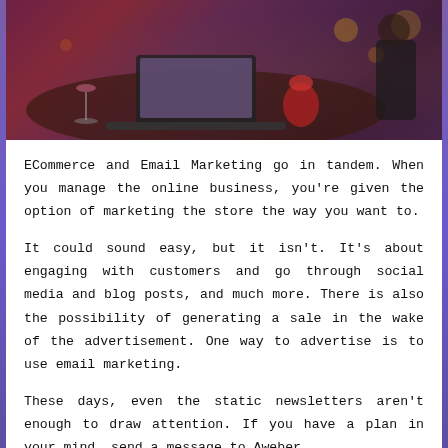[Figure (photo): Photo of a laptop on a restaurant/dining table with warm ambient lighting, bokeh lights in background, red candle or decorative object, wine glass visible, dark moody atmosphere]
ECommerce and Email Marketing go in tandem. When you manage the online business, you're given the option of marketing the store the way you want to.
It could sound easy, but it isn't. It's about engaging with customers and go through social media and blog posts, and much more. There is also the possibility of generating a sale in the wake of the advertisement. One way to advertise is to use email marketing.
These days, even the static newsletters aren't enough to draw attention. If you have a plan in your mind, send a message to Aweber.
This review will cover Aweber the way email marketing works